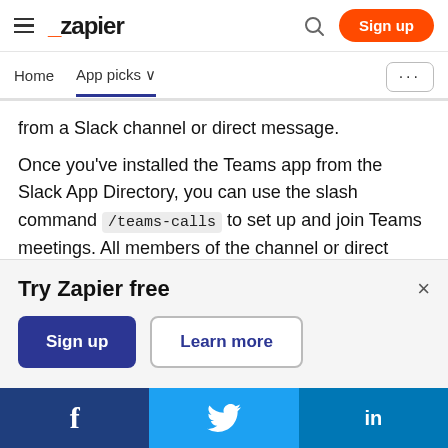[Figure (screenshot): Zapier website navigation bar with hamburger menu, Zapier logo, search icon, and orange Sign up button]
[Figure (screenshot): Secondary navigation bar with Home and App picks links, and a more (...) button]
from a Slack channel or direct message.
Once you've installed the Teams app from the Slack App Directory, you can use the slash command /teams-calls to set up and join Teams meetings. All members of the channel or direct message will receive a prompt to join the Teams call. Here's what it
[Figure (screenshot): Try Zapier free banner with Sign up and Learn more buttons, and a close X button]
[Figure (screenshot): Social share bar with Facebook, Twitter, and LinkedIn icons]